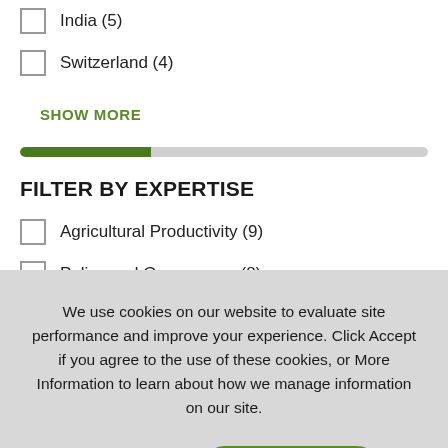India (5)
Switzerland (4)
SHOW MORE
FILTER BY EXPERTISE
Agricultural Productivity (9)
Policy and Governance (8)
We use cookies on our website to evaluate site performance and improve your experience. Click Accept if you agree to the use of these cookies, or More Information to learn about how we manage information on our site.